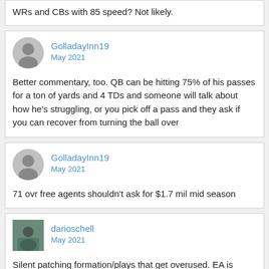WRs and CBs with 85 speed? Not likely.
GolladayInn19
May 2021
Better commentary, too. QB can be hitting 75% of his passes for a ton of yards and 4 TDs and someone will talk about how he's struggling, or you pick off a pass and they ask if you can recover from turning the ball over
GolladayInn19
May 2021
71 ovr free agents shouldn't ask for $1.7 mil mid season
darioschell
May 2021
Silent patching formation/plays that get overused. EA is